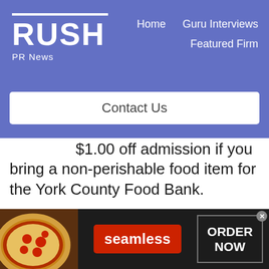[Figure (logo): RUSH PR News logo with white bar above text on blue/purple background]
Home   Guru Interviews   Featured Firm
Contact Us
$1.00 off admission if you bring a non-perishable food item for the York County Food Bank.
Parking is FREE.
For more information about ACS, visit www.yorkbuilders.com.
About Sundance Vacations
[Figure (advertisement): Seamless food delivery advertisement with pizza image, red Seamless button, and ORDER NOW button on dark background]